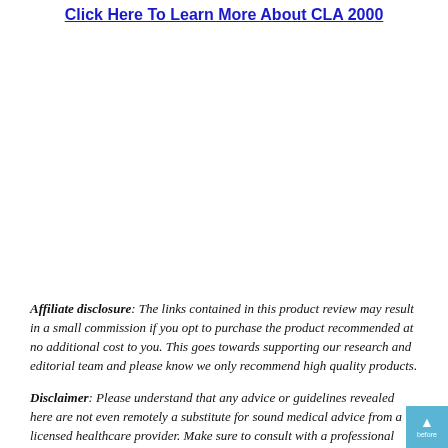Click Here To Learn More About CLA 2000
Affiliate disclosure: The links contained in this product review may result in a small commission if you opt to purchase the product recommended at no additional cost to you. This goes towards supporting our research and editorial team and please know we only recommend high quality products.
Disclaimer: Please understand that any advice or guidelines revealed here are not even remotely a substitute for sound medical advice from a licensed healthcare provider. Make sure to consult with a professional physician before making any purchasing decision if you use medications or have concerns following the review details shared above. Individual results may vary as the